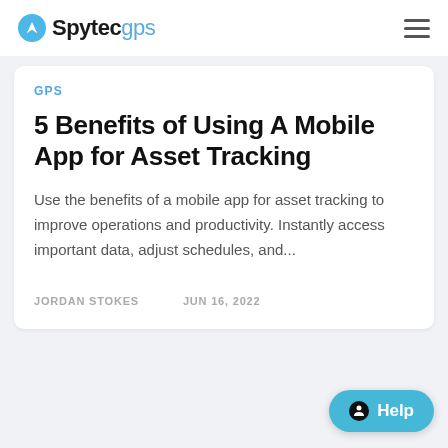Spytec gps
GPS
5 Benefits of Using A Mobile App for Asset Tracking
Use the benefits of a mobile app for asset tracking to improve operations and productivity. Instantly access important data, adjust schedules, and...
JORDAN STOKES   JUN 16, 2022